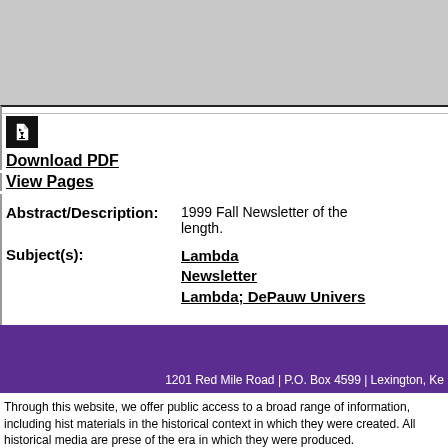[Figure (screenshot): Gray header area of a web page]
[Figure (illustration): Download icon button (black box with white cursor/arrow icon)]
Download PDF
View Pages
Abstract/Description: 1999 Fall Newsletter of the ... length.
Subject(s): Lambda
Newsletter
Lambda; DePauw Univers...
1201 Red Mile Road | P.O. Box 4599 | Lexington, Ke...
Through this website, we offer public access to a broad range of information, including hist... materials in the historical context in which they were created. All historical media are prese... of the era in which they were produced.
STATEMENT ON SENSITIVITY